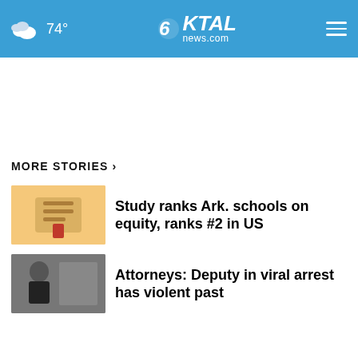74° KTAL news.com
MORE STORIES ›
Study ranks Ark. schools on equity, ranks #2 in US
Attorneys: Deputy in viral arrest has violent past
Hundreds of dinosaur tracks exposed amid TX drought
Shreveport man faces 220 child, animal sex charges